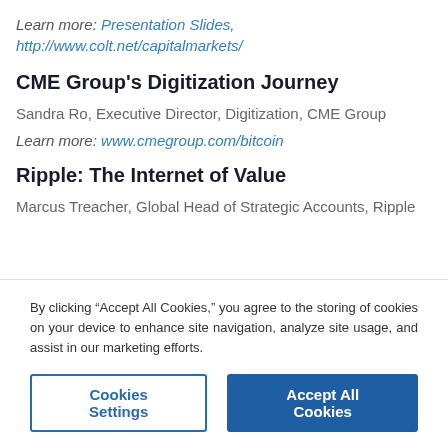Learn more: Presentation Slides, http://www.colt.net/capitalmarkets/
CME Group's Digitization Journey
Sandra Ro, Executive Director, Digitization, CME Group
Learn more: www.cmegroup.com/bitcoin
Ripple: The Internet of Value
Marcus Treacher, Global Head of Strategic Accounts, Ripple
By clicking “Accept All Cookies,” you agree to the storing of cookies on your device to enhance site navigation, analyze site usage, and assist in our marketing efforts.
Cookies Settings
Accept All Cookies